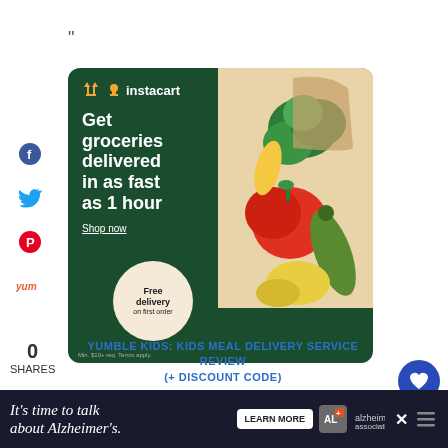”
[Figure (illustration): Instacart advertisement banner on dark green background. Left side shows Instacart logo with carrot icon and white text: 'Get groceries delivered in as fast as 1 hour', 'Shop now'. Right side shows vegetables (broccoli, tomatoes, zucchini, corn). A circular badge reads 'Free delivery on first order'. Small disclaimer: 'Min. $10+ req. Terms apply.']
YUMBLE KIDS: KIDS MEAL DELIVERY SERVICE REVIEW (+ DISCOUNT CODE)
[Figure (illustration): Bottom banner advertisement: "It's time to talk about Alzheimer's." with LEARN MORE button and Alzheimer's Association logo]